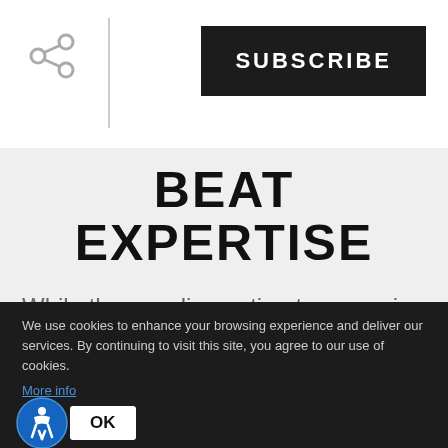SUBSCRIBE
BEAT EXPERTISE
While these online estimates can give you a general idea of your home’s value, your Realtor can consider the nuances that algorithms can’t. Whether it’s a recent update to your home or new trends with buyers in your area, a Realtor can consider the whole picture
We use cookies to enhance your browsing experience and deliver our services. By continuing to visit this site, you agree to our use of cookies. More info
OK